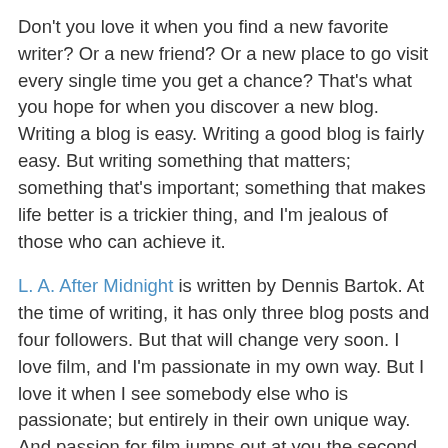Don't you love it when you find a new favorite writer? Or a new friend? Or a new place to go visit every single time you get a chance? That's what you hope for when you discover a new blog. Writing a blog is easy. Writing a good blog is fairly easy. But writing something that matters; something that's important; something that makes life better is a trickier thing, and I'm jealous of those who can achieve it.
L. A. After Midnight is written by Dennis Bartok. At the time of writing, it has only three blog posts and four followers. But that will change very soon. I love film, and I'm passionate in my own way. But I love it when I see somebody else who is passionate; but entirely in their own unique way. And passion for film jumps out at you the second you visit this blog. The things Dennis is writing about and covering are fascinating in themselves. But what makes it vibrant and important is the voice behind it.
In the post Ken's Tuesday Night Film Club - he allows the spirit of Ken (his subject) to be the voice, along with the amazing images. His article Future Of Film Projection In Jeopardy? simply and effectively makes you care about